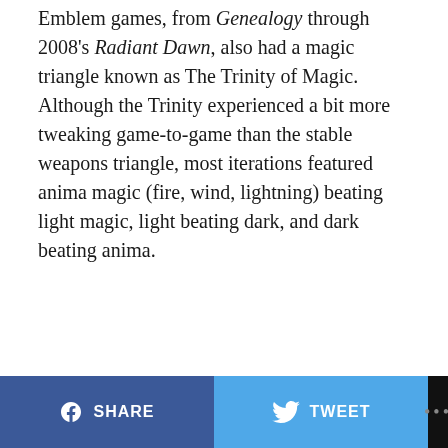Emblem games, from Genealogy through 2008's Radiant Dawn, also had a magic triangle known as The Trinity of Magic. Although the Trinity experienced a bit more tweaking game-to-game than the stable weapons triangle, most iterations featured anima magic (fire, wind, lightning) beating light magic, light beating dark, and dark beating anima.
SHARE  TWEET  ...